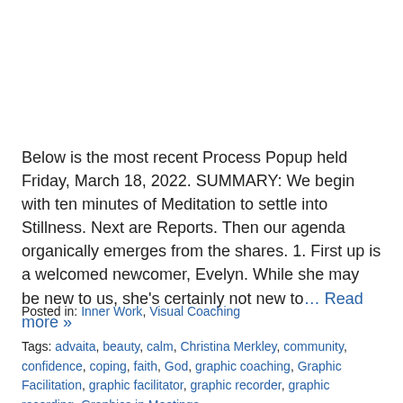Below is the most recent Process Popup held Friday, March 18, 2022. SUMMARY: We begin with ten minutes of Meditation to settle into Stillness. Next are Reports. Then our agenda organically emerges from the shares. 1. First up is a welcomed newcomer, Evelyn. While she may be new to us, she's certainly not new to… Read more »
Posted in: Inner Work, Visual Coaching
Tags: advaita, beauty, calm, Christina Merkley, community, confidence, coping, faith, God, graphic coaching, Graphic Facilitation, graphic facilitator, graphic recorder, graphic recording, Graphics in Meetings,